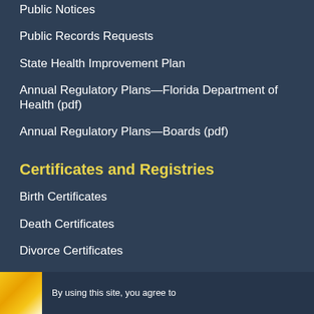Public Notices
Public Records Requests
State Health Improvement Plan
Annual Regulatory Plans—Florida Department of Health (pdf)
Annual Regulatory Plans—Boards (pdf)
Certificates and Registries
Birth Certificates
Death Certificates
Divorce Certificates
Marriage Certificates
By using this site, you agree to